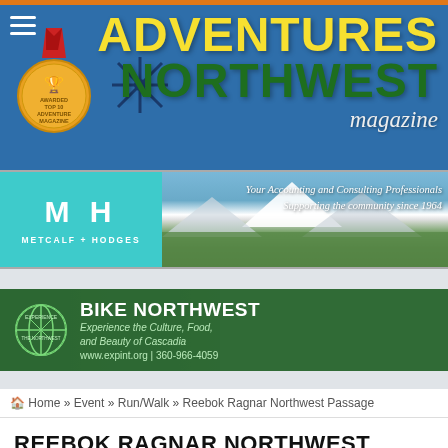[Figure (logo): Adventures Northwest Magazine header banner with yellow ADVENTURES text, green NORTHWEST text, italic white magazine text, medal/award badge on left, and blue sky background]
[Figure (photo): Metcalf + Hodges accounting and consulting professionals advertisement banner with teal MH logo on left and mountain photo on right. Text: Your Accounting and Consulting Professionals, Supporting the community since 1964]
[Figure (photo): Bike Northwest advertisement banner on green background with globe logo. Text: BIKE NORTHWEST, Experience the Culture, Food, and Beauty of Cascadia, www.expint.org | 360-966-4059]
Home » Event » Run/Walk » Reebok Ragnar Northwest Passage
REEBOK RAGNAR NORTHWEST PASSAGE
John D'Onofrio   April 4, 2017   887 Views